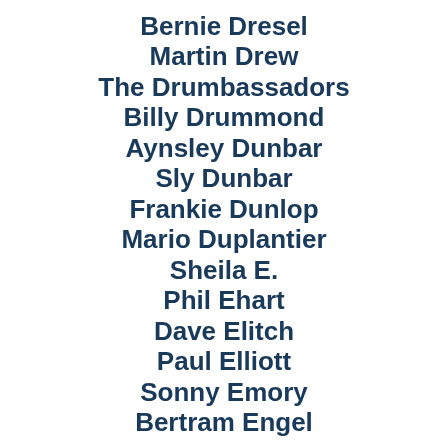Bernie Dresel
Martin Drew
The Drumbassadors
Billy Drummond
Aynsley Dunbar
Sly Dunbar
Frankie Dunlop
Mario Duplantier
Sheila E.
Phil Ehart
Dave Elitch
Paul Elliott
Sonny Emory
Bertram Engel